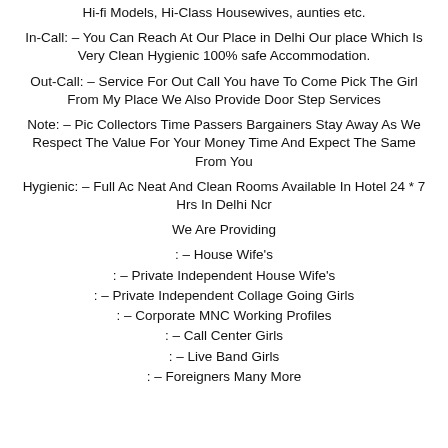Hi-fi Models, Hi-Class Housewives, aunties etc.
In-Call: – You Can Reach At Our Place in Delhi Our place Which Is Very Clean Hygienic 100% safe Accommodation.
Out-Call: – Service For Out Call You have To Come Pick The Girl From My Place We Also Provide Door Step Services
Note: – Pic Collectors Time Passers Bargainers Stay Away As We Respect The Value For Your Money Time And Expect The Same From You
Hygienic: – Full Ac Neat And Clean Rooms Available In Hotel 24 * 7 Hrs In Delhi Ncr
We Are Providing
: – House Wife's
: – Private Independent House Wife's
: – Private Independent Collage Going Girls
: – Corporate MNC Working Profiles
: – Call Center Girls
: – Live Band Girls
: – Foreigners Many More